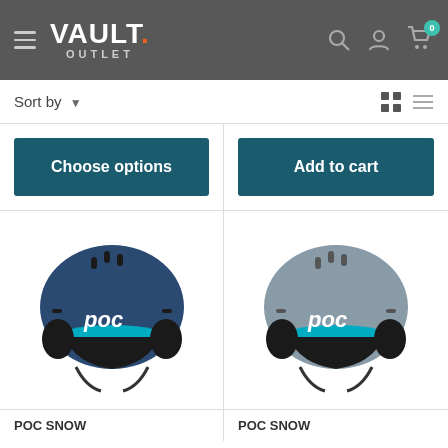VAULT. OUTLET — navigation header with hamburger menu, search, account, and cart icons
Sort by ▾
[Figure (screenshot): Choose options button (dark teal) for left product]
[Figure (screenshot): Add to cart button (dark teal) for right product]
[Figure (photo): POC Snow helmet in navy blue with teal interior lining, black ear pads, POC logo on side]
POC SNOW
[Figure (photo): POC Snow helmet in gray with teal interior lining, black ear pads, POC logo on side]
POC SNOW